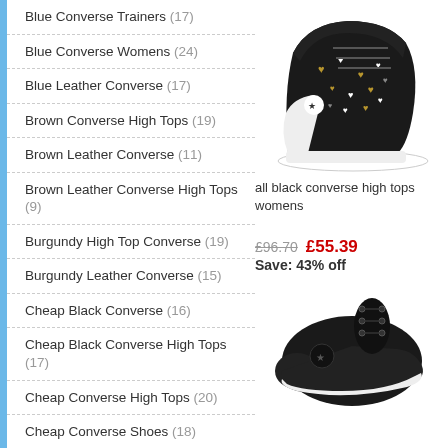Blue Converse Trainers (17)
Blue Converse Womens (24)
Blue Leather Converse (17)
Brown Converse High Tops (19)
Brown Leather Converse (11)
Brown Leather Converse High Tops (9)
Burgundy High Top Converse (19)
Burgundy Leather Converse (15)
Cheap Black Converse (16)
Cheap Black Converse High Tops (17)
Cheap Converse High Tops (20)
Cheap Converse Shoes (18)
Cheap Converse Trainers (20)
Cheap Kids Converse (11)
Cheap Ladies Converse (24)
[Figure (photo): Black Converse high tops with heart pattern print, white sole]
all black converse high tops womens
£96.70  £55.39  Save: 43% off
[Figure (photo): Black Converse shoes, partial view from above]